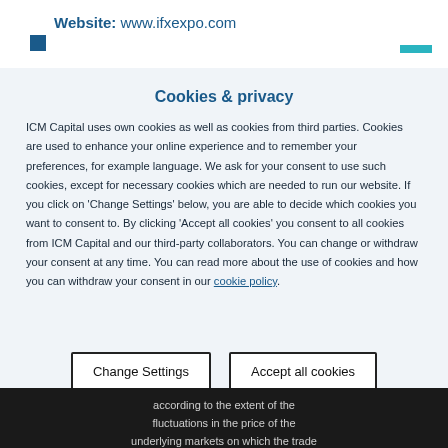Website: www.ifxexpo.com
Cookies & privacy
ICM Capital uses own cookies as well as cookies from third parties. Cookies are used to enhance your online experience and to remember your preferences, for example language. We ask for your consent to use such cookies, except for necessary cookies which are needed to run our website. If you click on 'Change Settings' below, you are able to decide which cookies you want to consent to. By clicking 'Accept all cookies' you consent to all cookies from ICM Capital and our third-party collaborators. You can change or withdraw your consent at any time. You can read more about the use of cookies and how you can withdraw your consent in our cookie policy.
according to the extent of the fluctuations in the price of the underlying markets on which the trade is based.  Read More